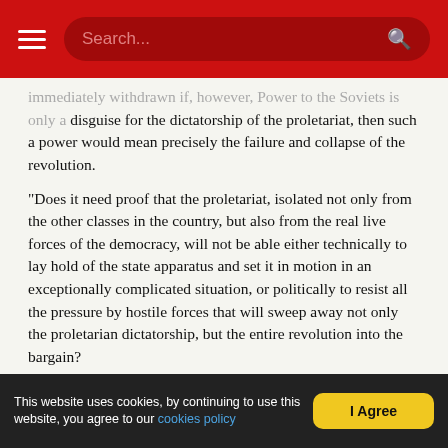Search...
immediately withdrawn if, however, Power to the Soviets is only a disguise for the dictatorship of the proletariat, then such a power would mean precisely the failure and collapse of the revolution.
"Does it need proof that the proletariat, isolated not only from the other classes in the country, but also from the real live forces of the democracy, will not be able either technically to lay hold of the state apparatus and set it in motion in an exceptionally complicated situation, or politically to resist all the pressure by hostile forces that will sweep away not only the proletarian dictatorship, but the entire revolution into the bargain?
"The only power that will answer the requirements of the present situation is a really honest coalition within the democracy."
* * *
We apologise to the reader for quoting these lengthy extracts, but they are absolutely necessary. It is necessary to present a precise picture of the
This website uses cookies, by continuing to use this website, you agree to our cookies policy   I Agree